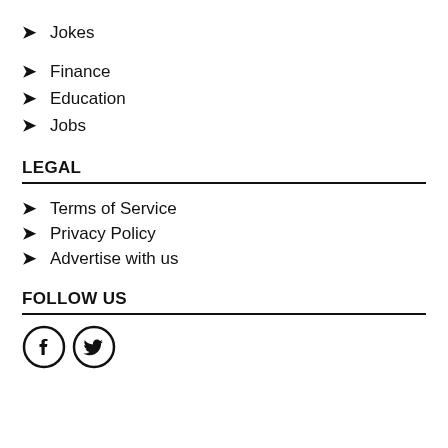Jokes
Finance
Education
Jobs
LEGAL
Terms of Service
Privacy Policy
Advertise with us
FOLLOW US
[Figure (illustration): Facebook and Twitter social media icons in circles]